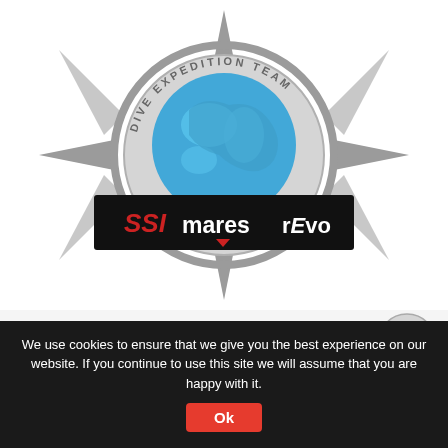[Figure (logo): MARES / SSI / rEvo Dive Expedition Team logo — compass rose with globe, text 'DIVE EXPEDITION TEAM' around edge, black banner below with SSI (red), mares, rEvo brand logos]
INSPIRED BY EXPERIENCE – A NEW TEAM OF EXPERTS IS BORN!
by MARES / SSI / rEvo Dive Expedition Team – 10th January 2017
'Nothing is stronger than an idea whose time has come' - This
We use cookies to ensure that we give you the best experience on our website. If you continue to use this site we will assume that you are happy with it.